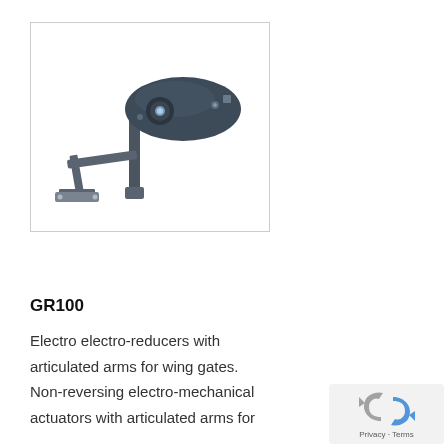[Figure (photo): Product photo of GR100 electro-reducer with articulated arm for wing gates. Shows a dark-colored elongated motor/actuator head with a mounting bracket and L-shaped articulated arm, photographed on white background.]
GR100
Electro electro-reducers with articulated arms for wing gates. Non-reversing electro-mechanical actuators with articulated arms for...